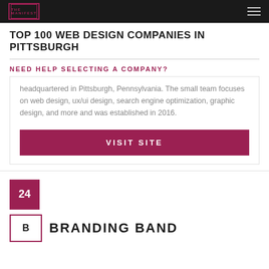THE MANIFEST
TOP 100 WEB DESIGN COMPANIES IN PITTSBURGH
NEED HELP SELECTING A COMPANY?
headquartered in Pittsburgh, Pennsylvania. The small team focuses on web design, ux/ui design, search engine optimization, graphic design, and more and was established in 2016.
VISIT SITE
24
BRANDING BAND